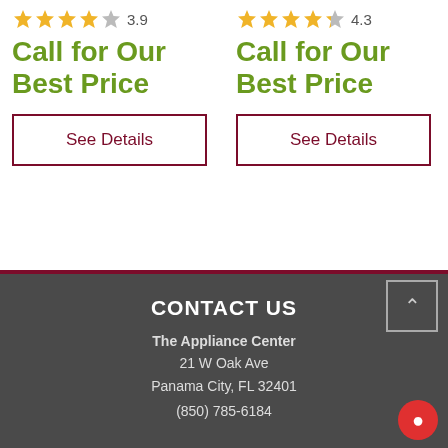[Figure (other): Star rating 3.9 out of 5 with 4 gold stars and 1 grey star]
Call for Our Best Price
See Details
[Figure (other): Star rating 4.3 out of 5 with 4 gold stars and 1 half grey star]
Call for Our Best Price
See Details
CONTACT US
The Appliance Center
21 W Oak Ave
Panama City, FL 32401
(850) 785-6184